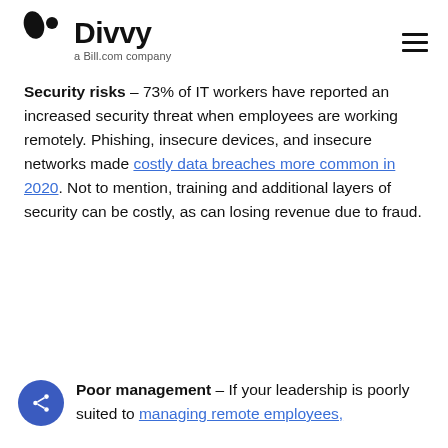Divvy – a Bill.com company
Security risks – 73% of IT workers have reported an increased security threat when employees are working remotely. Phishing, insecure devices, and insecure networks made costly data breaches more common in 2020. Not to mention, training and additional layers of security can be costly, as can losing revenue due to fraud.
Poor management – If your leadership is poorly suited to managing remote employees,